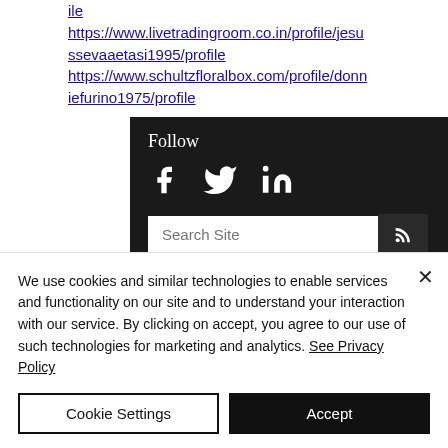ile https://www.livetradingroom.co.in/profile/jesussevaaetasi1995/profile https://www.schultzfloralbox.com/profile/donniefurino1975/profile
[Figure (screenshot): Dark social media follow widget with Follow heading, Facebook, Twitter, LinkedIn icons, a search box with placeholder 'Search Site', and an RSS button]
We use cookies and similar technologies to enable services and functionality on our site and to understand your interaction with our service. By clicking on accept, you agree to our use of such technologies for marketing and analytics. See Privacy Policy
Cookie Settings | Accept